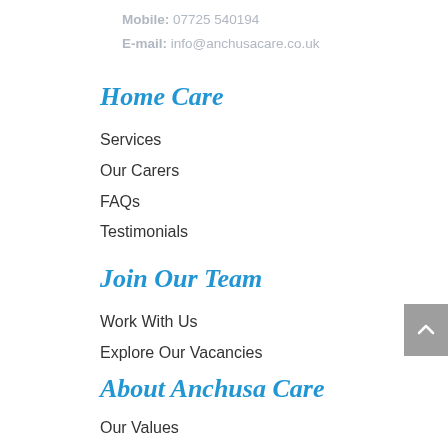Mobile: 07725 540194
E-mail: info@anchusacare.co.uk
Home Care
Services
Our Carers
FAQs
Testimonials
Join Our Team
Work With Us
Explore Our Vacancies
About Anchusa Care
Our Values
Our Team